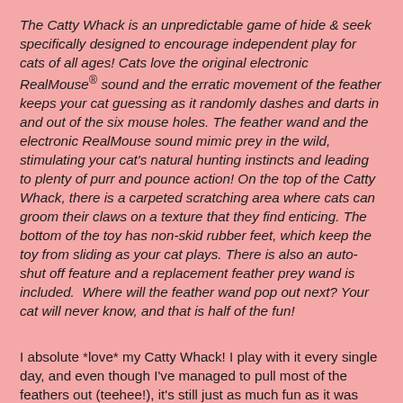The Catty Whack is an unpredictable game of hide & seek specifically designed to encourage independent play for cats of all ages! Cats love the original electronic RealMouse® sound and the erratic movement of the feather keeps your cat guessing as it randomly dashes and darts in and out of the six mouse holes. The feather wand and the electronic RealMouse sound mimic prey in the wild, stimulating your cat's natural hunting instincts and leading to plenty of purr and pounce action! On the top of the Catty Whack, there is a carpeted scratching area where cats can groom their claws on a texture that they find enticing. The bottom of the toy has non-skid rubber feet, which keep the toy from sliding as your cat plays. There is also an auto-shut off feature and a replacement feather prey wand is included.  Where will the feather wand pop out next? Your cat will never know, and that is half of the fun!
I absolute *love* my Catty Whack! I play with it every single day, and even though I've managed to pull most of the feathers out (teehee!), it's still just as much fun as it was